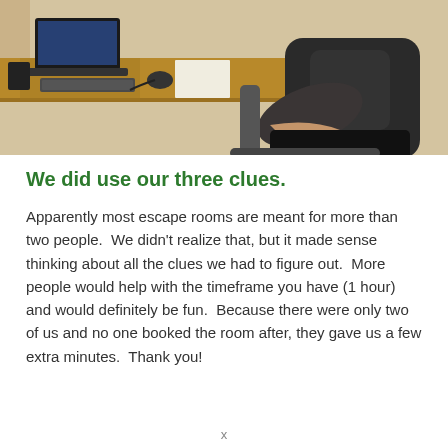[Figure (photo): A person sitting at a desk in an office setting, with a laptop/monitor, keyboard, and mouse visible on the desk. The person is wearing a dark short-sleeve shirt and dark pants.]
We did use our three clues.
Apparently most escape rooms are meant for more than two people.  We didn't realize that, but it made sense thinking about all the clues we had to figure out.  More people would help with the timeframe you have (1 hour) and would definitely be fun.  Because there were only two of us and no one booked the room after, they gave us a few extra minutes.  Thank you!
x